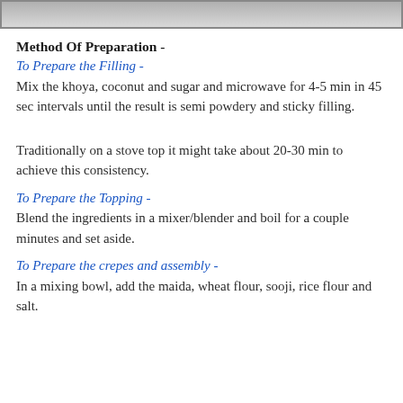[Figure (photo): Partial photo strip at top of page, appears to be a food image cropped]
Method Of Preparation -
To Prepare the Filling -
Mix the khoya, coconut and sugar and microwave for 4-5 min in 45 sec intervals until the result is semi powdery and sticky filling.
Traditionally on a stove top it might take about 20-30 min to achieve this consistency.
To Prepare the Topping -
Blend the ingredients in a mixer/blender and boil for a couple minutes and set aside.
To Prepare the crepes and assembly -
In a mixing bowl, add the maida, wheat flour, sooji, rice flour and salt.